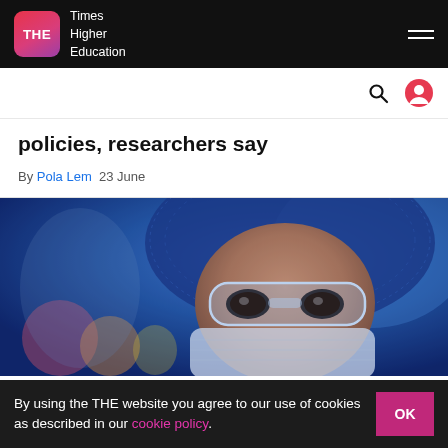Times Higher Education
policies, researchers say
By Pola Lem  23 June
[Figure (photo): Close-up of a researcher wearing blue hairnet, safety goggles, and face mask in a laboratory setting with blurred colorful lab equipment in the background.]
By using the THE website you agree to our use of cookies as described in our cookie policy.